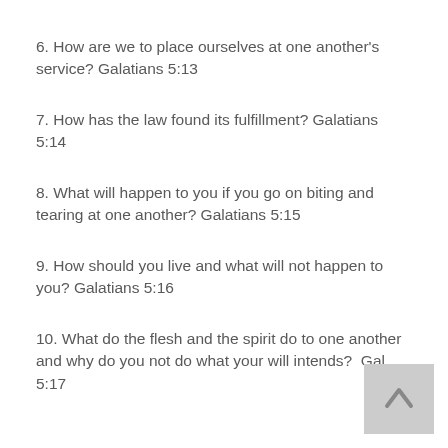6. How are we to place ourselves at one another's service? Galatians 5:13
7. How has the law found its fulfillment? Galatians 5:14
8. What will happen to you if you go on biting and tearing at one another? Galatians 5:15
9. How should you live and what will not happen to you? Galatians 5:16
10. What do the flesh and the spirit do to one another and why do you not do what your will intends?  Gal. 5:17